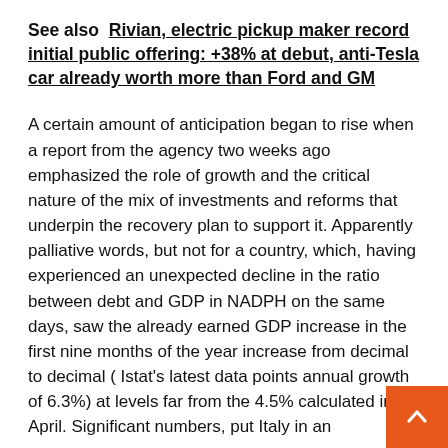See also  Rivian, electric pickup maker record initial public offering: +38% at debut, anti-Tesla car already worth more than Ford and GM
A certain amount of anticipation began to rise when a report from the agency two weeks ago emphasized the role of growth and the critical nature of the mix of investments and reforms that underpin the recovery plan to support it. Apparently palliative words, but not for a country, which, having experienced an unexpected decline in the ratio between debt and GDP in NADPH on the same days, saw the already earned GDP increase in the first nine months of the year increase from decimal to decimal ( Istat's latest data points annual growth of 6.3%) at levels far from the 4.5% calculated in April. Significant numbers, put Italy in an advantageous position for the chronic European which...